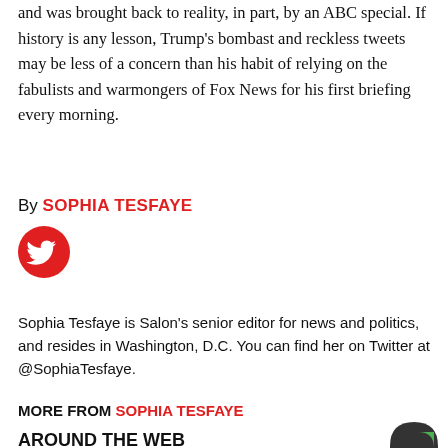and was brought back to reality, in part, by an ABC special. If history is any lesson, Trump's bombast and reckless tweets may be less of a concern than his habit of relying on the fabulists and warmongers of Fox News for his first briefing every morning.
By SOPHIA TESFAYE
[Figure (logo): Twitter bird logo in red circle]
Sophia Tesfaye is Salon's senior editor for news and politics, and resides in Washington, D.C. You can find her on Twitter at @SophiaTesfaye.
MORE FROM SOPHIA TESFAYE
AROUND THE WEB
[Figure (logo): Partial green and black circular logo in bottom right corner]